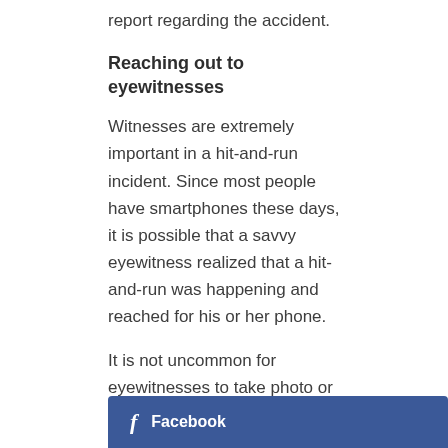report regarding the accident.
Reaching out to eyewitnesses
Witnesses are extremely important in a hit-and-run incident. Since most people have smartphones these days, it is possible that a savvy eyewitness realized that a hit-and-run was happening and reached for his or her phone.
It is not uncommon for eyewitnesses to take photo or video evidence of hit-and-run accidents. If the eyewitnesses has a photo or video of the culprit or the culprit's car, it is possible this will help the police locate the other driver.
[Figure (other): Facebook share button bar with 'f' icon and 'Facebook' text on dark blue background]